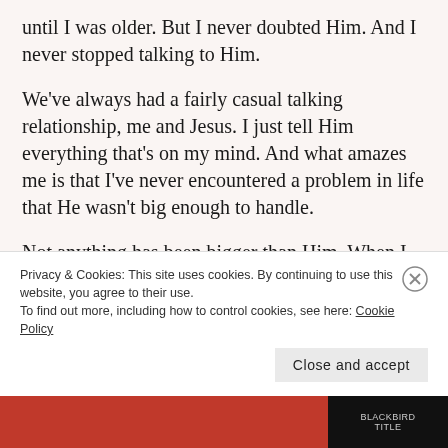until I was older. But I never doubted Him. And I never stopped talking to Him.
We've always had a fairly casual talking relationship, me and Jesus. I just tell Him everything that's on my mind. And what amazes me is that I've never encountered a problem in life that He wasn't big enough to handle.
Not anything has been bigger than Him. When I was little, that was expected. Everything was bigger than me. But as a grown up, you'd think I run into trouble...
Privacy & Cookies: This site uses cookies. By continuing to use this website, you agree to their use.
To find out more, including how to control cookies, see here: Cookie Policy
Close and accept